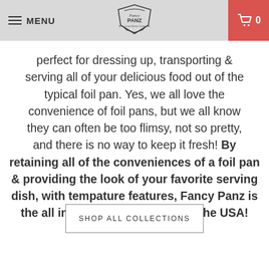MENU | Fancy Panz logo | 0
perfect for dressing up, transporting & serving all of your delicious food out of the typical foil pan. Yes, we all love the convenience of foil pans, but we all know they can often be too flimsy, not so pretty, and there is no way to keep it fresh! By retaining all of the conveniences of a foil pan & providing the look of your favorite serving dish, with tempature features, Fancy Panz is the all in one solution - made in the USA!
SHOP ALL COLLECTIONS